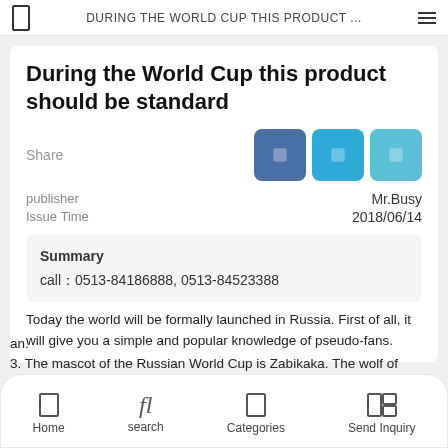DURING THE WORLD CUP THIS PRODUCT ...
During the World Cup this product should be standard
Share
publisher   Mr.Busy
Issue Time   2018/06/14
Summary
call：0513-84186888, 0513-84523388
Today the world will be formally launched in Russia. First of all, it will give you a simple and popular knowledge of pseudo-fans.
an.
3. The mascot of the Russian World Cup is Zabikaka. The wolf of